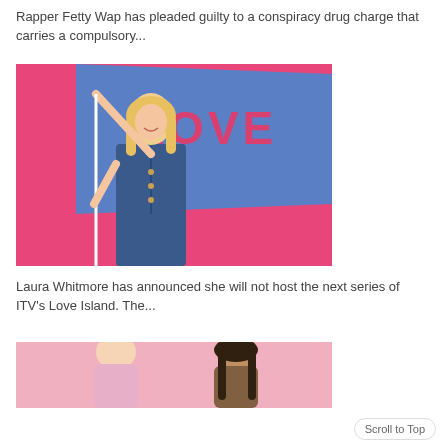Rapper Fetty Wap has pleaded guilty to a conspiracy drug charge that carries a compulsory...
[Figure (photo): Woman in denim jumpsuit holding a blue flag with 'LOVE' text, posed against a pink background]
Laura Whitmore has announced she will not host the next series of ITV's Love Island. The...
[Figure (photo): Partial photo of two women against a pink background, partially cut off at bottom of page]
Scroll to Top